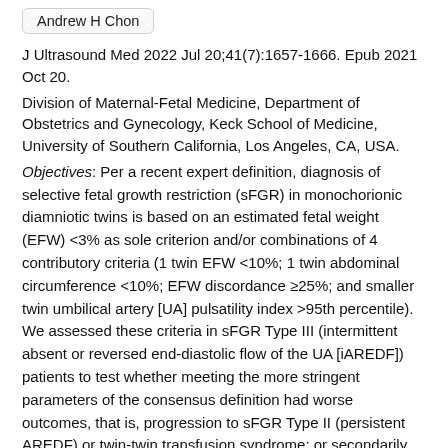Andrew H Chon
J Ultrasound Med 2022 Jul 20;41(7):1657-1666. Epub 2021 Oct 20.
Division of Maternal-Fetal Medicine, Department of Obstetrics and Gynecology, Keck School of Medicine, University of Southern California, Los Angeles, CA, USA.
Objectives: Per a recent expert definition, diagnosis of selective fetal growth restriction (sFGR) in monochorionic diamniotic twins is based on an estimated fetal weight (EFW) <3% as sole criterion and/or combinations of 4 contributory criteria (1 twin EFW <10%; 1 twin abdominal circumference <10%; EFW discordance ≥25%; and smaller twin umbilical artery [UA] pulsatility index >95th percentile). We assessed these criteria in sFGR Type III (intermittent absent or reversed end-diastolic flow of the UA [iAREDF]) patients to test whether meeting the more stringent parameters of the consensus definition had worse outcomes, that is, progression to sFGR Type II (persistent AREDF) or twin-twin transfusion syndrome; or secondarily decreased